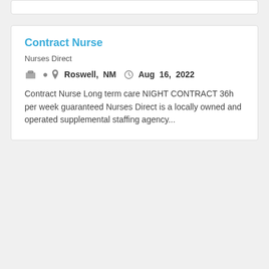Contract Nurse
Nurses Direct
Roswell, NM  Aug 16, 2022
Contract Nurse Long term care NIGHT CONTRACT 36h per week guaranteed Nurses Direct is a locally owned and operated supplemental staffing agency...